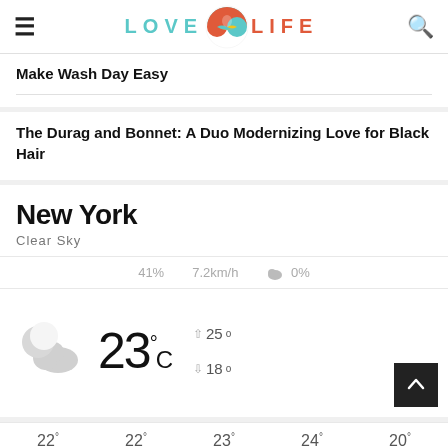LOVE LIFE (logo with icon)
Make Wash Day Easy
The Durag and Bonnet: A Duo Modernizing Love for Black Hair
New York
Clear Sky
41%  7.2km/h  0%
[Figure (infographic): Weather display showing partly cloudy night icon, temperature 23°C, high 25°, low 18°, with back-to-top button]
22°  22°  23°  24°  20°